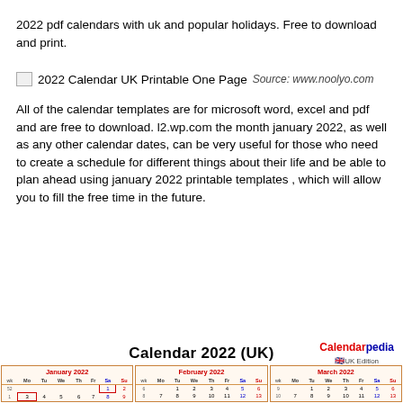2022 pdf calendars with uk and popular holidays. Free to download and print.
[Figure (other): Broken image placeholder for '2022 Calendar UK Printable One Page' with source attribution: www.noolyo.com]
All of the calendar templates are for microsoft word, excel and pdf and are free to download. l2.wp.com the month january 2022, as well as any other calendar dates, can be very useful for those who need to create a schedule for different things about their life and be able to plan ahead using january 2022 printable templates , which will allow you to fill the free time in the future.
[Figure (other): Calendar 2022 (UK) showing January, February, and March 2022 month grids with week numbers, days of week headers, and date cells. January shows dates 1-9 visible, February shows dates 1-13 visible, March shows dates 1-13 visible.]